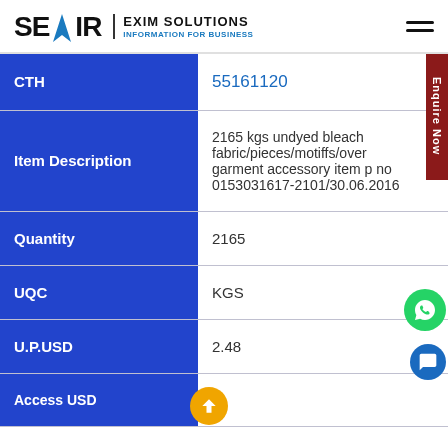SEAIR EXIM SOLUTIONS — INFORMATION FOR BUSINESS
| Field | Value |
| --- | --- |
| CTH | 55161120 |
| Item Description | 2165 kgs undyed bleach fabric/pieces/motiffs/over garment accessory item p no 0153031617-2101/30.06.2016 |
| Quantity | 2165 |
| UQC | KGS |
| U.P.USD | 2.48 |
| Access USD |  |